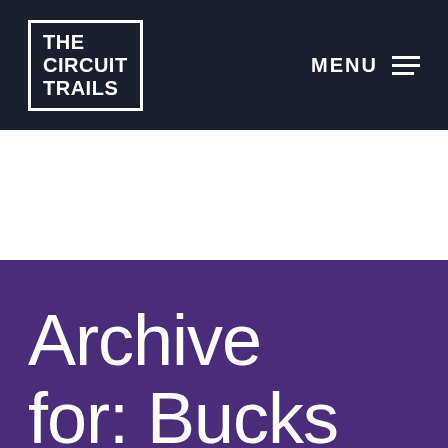THE CIRCUIT TRAILS
MENU
Archive for: Bucks County